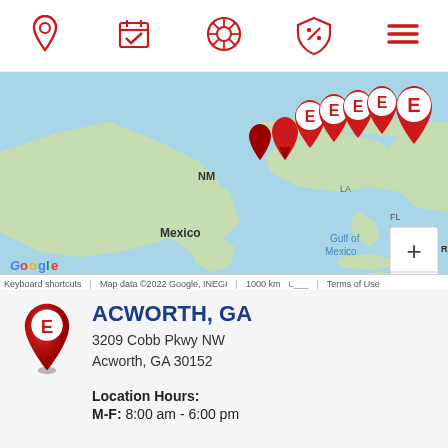[Figure (other): Navigation bar with 5 red icons: location pin, calendar with checkmark, tire/wheel, discount tag with percent, and hamburger menu lines]
[Figure (map): Google Maps screenshot showing the Gulf of Mexico region with multiple red Econo Lube/Econo branded location pins clustered in the southern United States. Labels visible: NM, Mexico, Gulf of Mexico, Cuba, Puerto Rico, Guatemala, Caribbean Sea, Nicaragua, Venezuela, Guyana, Colombia. Zoom controls (+/-) on right side. Map data ©2022 Google, INEGI. Scale: 1000 km.]
ACWORTH, GA
3209 Cobb Pkwy NW
Acworth, GA 30152
Location Hours:
M-F: 8:00 am - 6:00 pm